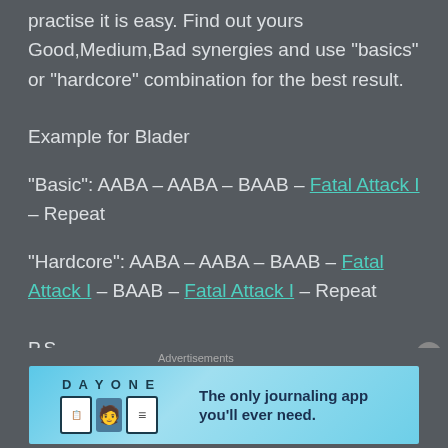practise it is easy. Find out yours Good,Medium,Bad synergies and use "basics" or "hardcore" combination for the best result.
Example for Blader
"Basic": AABA – AABA – BAAB – Fatal Attack I – Repeat
"Hardcore": AABA – AABA – BAAB – Fatal Attack I – BAAB – Fatal Attack I – Repeat
P.S.
1) While mob has low hp Activation can be extended with Fatal Attack II and III to finish killing.
Advertisements
[Figure (illustration): Day One journaling app advertisement banner with icons and text 'The only journaling app you'll ever need.']